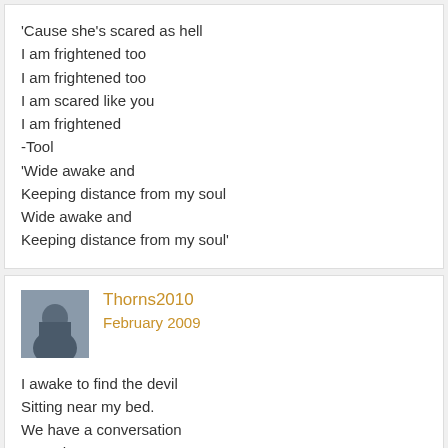'Cause she's scared as hell

I am frightened too
I am frightened too
I am scared like you
I am frightened

-Tool

'Wide awake and
Keeping distance from my soul
Wide awake and
Keeping distance from my soul'
Thorns2010
February 2009

I awake to find the devil
Sitting near my bed.
We have a conversation
..........he says: